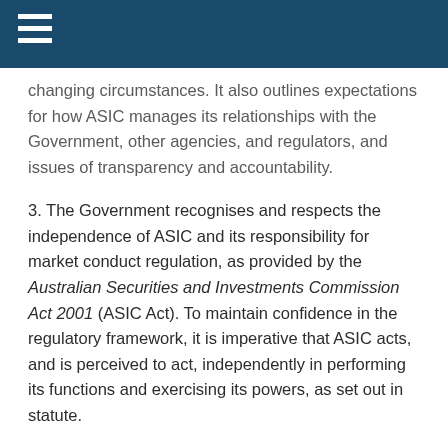changing circumstances. It also outlines expectations for how ASIC manages its relationships with the Government, other agencies, and regulators, and issues of transparency and accountability.
3. The Government recognises and respects the independence of ASIC and its responsibility for market conduct regulation, as provided by the Australian Securities and Investments Commission Act 2001 (ASIC Act). To maintain confidence in the regulatory framework, it is imperative that ASIC acts, and is perceived to act, independently in performing its functions and exercising its powers, as set out in statute.
4. ASIC is established to administer the regulatory framework that governs corporations generally, and licensed financial firms and financial markets in particular, and the Government therefore expects that ASIC will take